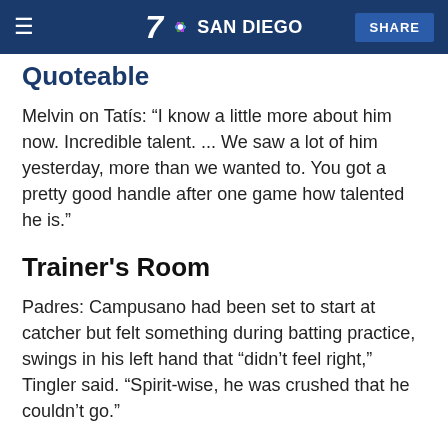7 SAN DIEGO  SHARE
Quoteable
Melvin on Tatís: “I know a little more about him now. Incredible talent. ... We saw a lot of him yesterday, more than we wanted to. You got a pretty good handle after one game how talented he is.”
Trainer’s Room
Padres: Campusano had been set to start at catcher but felt something during batting practice, swings in his left hand that “didn’t feel right,” Tingler said. “Spirit-wise, he was crushed that he couldn’t go.”
Athletics: SS Marcus Semien took swings off a tee in the cage as he nurses a sore left side. He is optimistic of